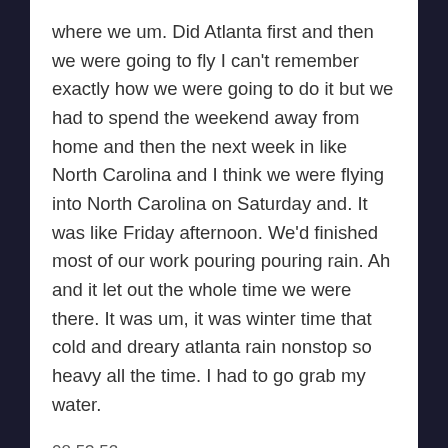where we um. Did Atlanta first and then we were going to fly I can't remember exactly how we were going to do it but we had to spend the weekend away from home and then the next week in like North Carolina and I think we were flying into North Carolina on Saturday and. It was like Friday afternoon. We'd finished most of our work pouring pouring rain. Ah and it let out the whole time we were there. It was um, it was winter time that cold and dreary atlanta rain nonstop so heavy all the time. I had to go grab my water.
08:53.52
jeffekennedy
Ah, so much better coffee doesn't always um